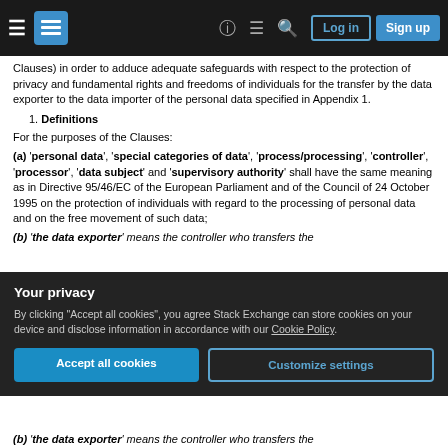Stack Exchange navigation bar with hamburger menu, logo, help, chat, search icons, Log in and Sign up buttons
Clauses) in order to adduce adequate safeguards with respect to the protection of privacy and fundamental rights and freedoms of individuals for the transfer by the data exporter to the data importer of the personal data specified in Appendix 1.
1. Definitions
For the purposes of the Clauses:
(a) 'personal data', 'special categories of data', 'process/processing', 'controller', 'processor', 'data subject' and 'supervisory authority' shall have the same meaning as in Directive 95/46/EC of the European Parliament and of the Council of 24 October 1995 on the protection of individuals with regard to the processing of personal data and on the free movement of such data;
(b) 'the data exporter' means the controller who transfers the
Your privacy
By clicking "Accept all cookies", you agree Stack Exchange can store cookies on your device and disclose information in accordance with our Cookie Policy.
Accept all cookies
Customize settings